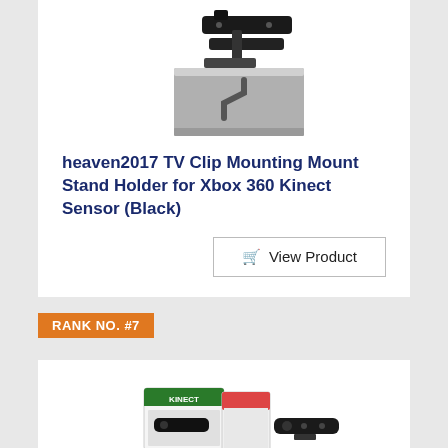[Figure (photo): Photo of a black TV clip mounting stand holder for Xbox 360 Kinect Sensor, shown clipped to a TV edge]
heaven2017 TV Clip Mounting Mount Stand Holder for Xbox 360 Kinect Sensor (Black)
View Product
RANK NO. #7
[Figure (photo): Photo of Kinect Sensor for XBox 360 product box and sensor unit]
Kinect Sensor for XBox 360
View Product